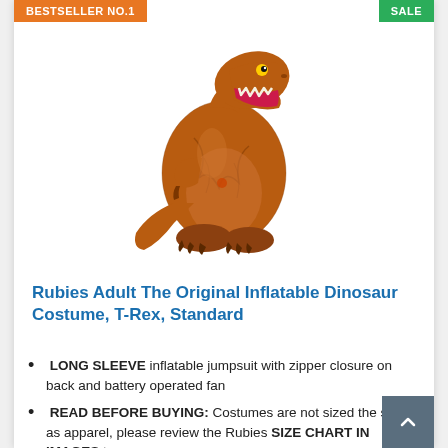BESTSELLER NO.1
SALE
[Figure (photo): Inflatable T-Rex dinosaur costume, brown/orange color, standing upright with open mouth and short arms]
Rubies Adult The Original Inflatable Dinosaur Costume, T-Rex, Standard
LONG SLEEVE inflatable jumpsuit with zipper closure on back and battery operated fan
READ BEFORE BUYING: Costumes are not sized the same as apparel, please review the Rubies SIZE CHART IN IMAGES to